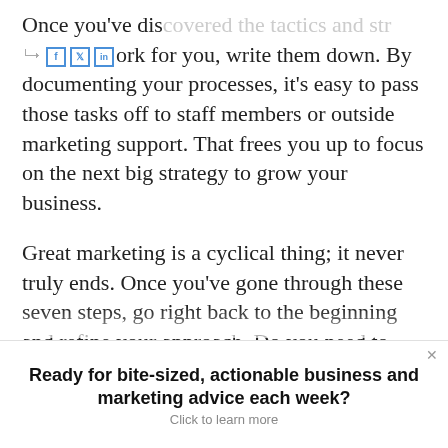Once you've discovered the tactics and strategies that work for you, write them down. By documenting your processes, it's easy to pass those tasks off to staff members or outside marketing support. That frees you up to focus on the next big strategy to grow your business.
Great marketing is a cyclical thing; it never truly ends. Once you've gone through these seven steps, go right back to the beginning and refine your approach. Do you need to revisit the profile of your ideal customer? Is there a new online channel you should be
Ready for bite-sized, actionable business and marketing advice each week? Click to learn more